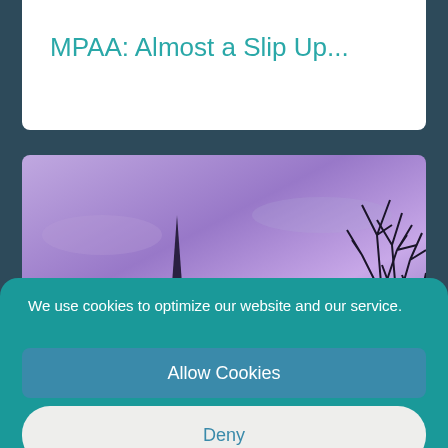MPAA: Almost a Slip Up...
[Figure (photo): Purple/violet twilight sky with a steeple silhouette on the left and bare tree branches on the right]
We use cookies to optimize our website and our service.
Allow Cookies
Deny
View preferences
Cookie policy